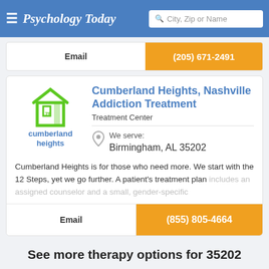Psychology Today — City, Zip or Name search
Email   (205) 671-2491
Cumberland Heights, Nashville Addiction Treatment
Treatment Center
We serve: Birmingham, AL 35202
Cumberland Heights is for those who need more. We start with the 12 Steps, yet we go further. A patient's treatment plan includes an assigned counselor and a small, gender-specific
Email   (855) 805-4664
See more therapy options for 35202